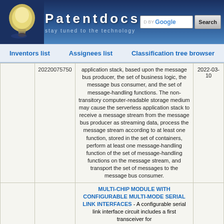Patentdocs - stay tuned to the technology
Inventors list   Assignees list   Classification tree browser
|  | Patent number | Description | Date |
| --- | --- | --- | --- |
|  | 20220075750 | application stack, based upon the message bus producer, the set of business logic, the message bus consumer, and the set of message-handling functions. The non-transitory computer-readable storage medium may cause the serverless application stack to receive a message stream from the message bus producer as streaming data, process the message stream according to at least one function, stored in the set of containers, perform at least one message-handling function of the set of message-handling functions on the message stream, and transport the set of messages to the message bus consumer. | 2022-03-10 |
|  |  | MULTI-CHIP MODULE WITH CONFIGURABLE MULTI-MODE SERIAL LINK INTERFACES - A configurable serial link interface circuit includes a first transceiver for |  |